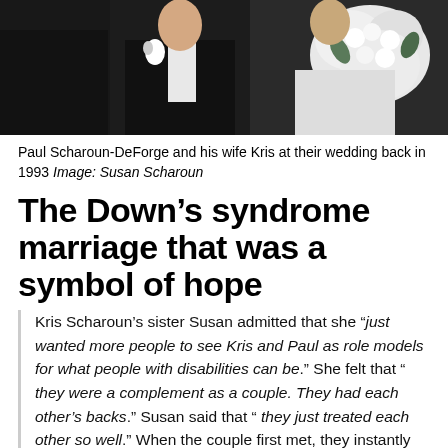[Figure (photo): Black and white wedding photo of Paul Scharoun-DeForge and his wife Kris at their wedding in 1993, both in formal wedding attire with flowers.]
Paul Scharoun-DeForge and his wife Kris at their wedding back in 1993 Image: Susan Scharoun
The Down’s syndrome marriage that was a symbol of hope
Kris Scharoun’s sister Susan admitted that she “ just wanted more people to see Kris and Paul as role models for what people with disabilities can be.” She felt that “ they were a complement as a couple. They had each other’s backs.” Susan said that “ they just treated each other so well.” When the couple first met, they instantly fell in love, and Kris revealed that she “ looked into Paul’s eyes and saw